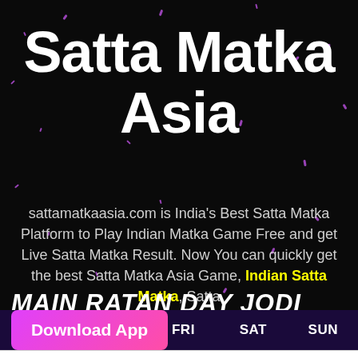Satta Matka Asia
sattamatkaasia.com is India's Best Satta Matka Platform to Play Indian Matka Game Free and get Live Satta Matka Result. Now You can quickly get the best Satta Matka Asia Game, Indian Satta Matka, Satta
MAIN RATAN DAY JODI CHART
Download App
| ED | THU | FRI | SAT | SUN |
| --- | --- | --- | --- | --- |
| 82 | 41 | 06 | 38 | 33 | 19 | 92 |